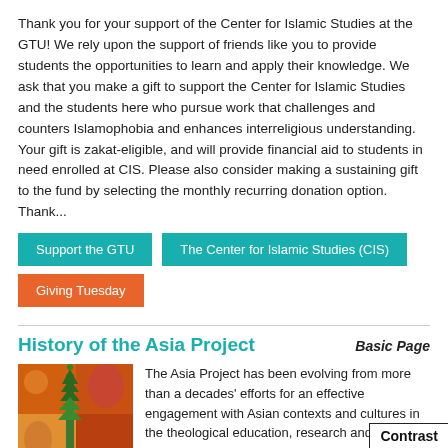Thank you for your support of the Center for Islamic Studies at the GTU! We rely upon the support of friends like you to provide students the opportunities to learn and apply their knowledge. We ask that you make a gift to support the Center for Islamic Studies and the students here who pursue work that challenges and counters Islamophobia and enhances interreligious understanding. Your gift is zakat-eligible, and will provide financial aid to students in need enrolled at CIS. Please also consider making a sustaining gift to the fund by selecting the monthly recurring donation option. Thank...
Support the GTU
The Center for Islamic Studies (CIS)
Giving Tuesday
History of the Asia Project
Basic Page
[Figure (illustration): Colorful illustration with Asian motifs: a tall green temple/tree structure on a warm orange and red background with figures]
The Asia Project has been evolving from more than a decades' efforts for an effective engagement with Asian contexts and cultures in the theological education, research and leadership development of faith communities at the GTU.  In 1999, a faculty